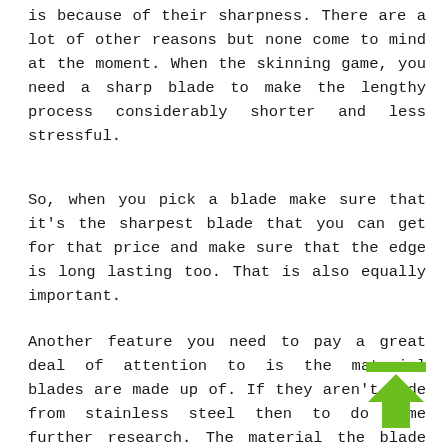is because of their sharpness. There are a lot of other reasons but none come to mind at the moment. When the skinning game, you need a sharp blade to make the lengthy process considerably shorter and less stressful.
So, when you pick a blade make sure that it's the sharpest blade that you can get for that price and make sure that the edge is long lasting too. That is also equally important.
Another feature you need to pay a great deal of attention to is the material blades are made up of. If they aren't made from stainless steel then to do some further research. The material the blade is
[Figure (illustration): Green upward-pointing arrow icon with a green horizontal bar above it, overlaid on the text in the bottom-right area of the page.]